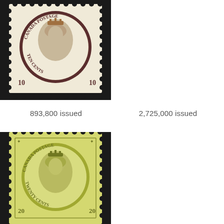[Figure (photo): Canada Postage stamp showing Queen Victoria, denomination 10 TEN CENTS, dark brown/purple color, with perforated edges, on black background]
893,800 issued
2,725,000 issued
[Figure (photo): Canada Postage stamp showing Queen Victoria, denomination 20 TWENTY CENTS, olive green color, with perforated edges, on black background]